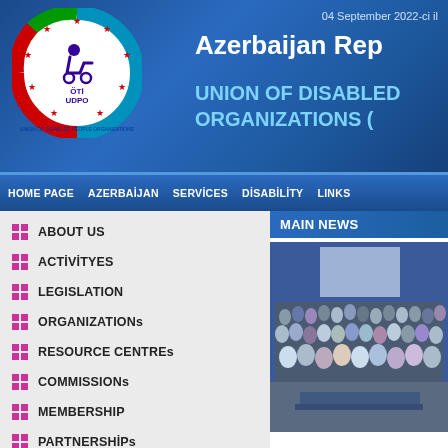04 September 2022-ci il
Azerbaijan Rep
UNION OF DISABLED ORGANIZATIONS (
[Figure (logo): UDPO Union of Disabled People Organizations circular logo with Azerbaijan flag colors and stars]
HOME PAGE   AZERBAIJAN   SERVICES   DISABILITY   LINKS
ABOUT US
ACTIVİTYES
LEGISLATION
ORGANIZATIONs
RESOURCE CENTREs
COMMISSIONs
MEMBERSHIP
PARTNERSHİPs
COLLABORATORs
MAIN NEWS
[Figure (photo): Group photo of many people at a conference or event, standing in rows in a room with blue curtains and a projector screen]